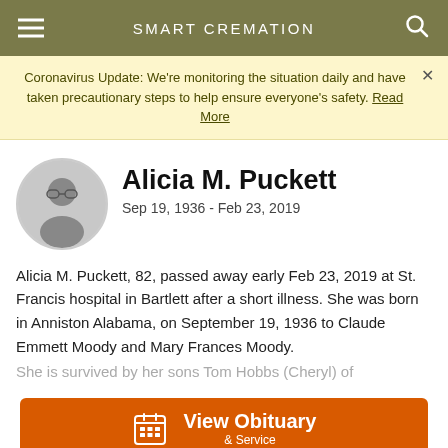SMART CREMATION
Coronavirus Update: We're monitoring the situation daily and have taken precautionary steps to help ensure everyone's safety. Read More
Alicia M. Puckett
Sep 19, 1936 - Feb 23, 2019
Alicia M. Puckett, 82, passed away early Feb 23, 2019 at St. Francis hospital in Bartlett after a short illness. She was born in Anniston Alabama, on September 19, 1936 to Claude Emmett Moody and Mary Frances Moody.
She is survived by her sons Tom Hobbs (Cheryl) of
View Obituary & Service